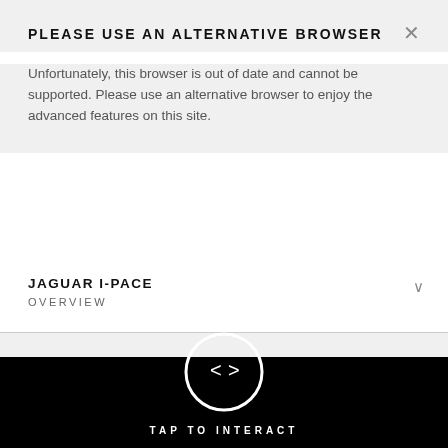PLEASE USE AN ALTERNATIVE BROWSER
Unfortunately, this browser is out of date and cannot be supported. Please use an alternative browser to enjoy the advanced features on this site.
JAGUAR I-PACE
OVERVIEW
360 I-PACE EXTERIOR
POWERTRAINS
[Figure (illustration): Interactive 360 viewer with left-right arrow circle icon and TAP TO INTERACT label on black background]
TAP TO INTERACT